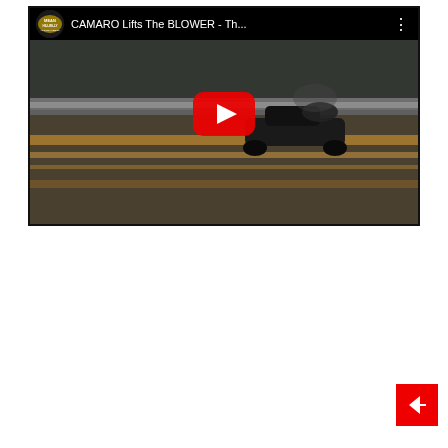[Figure (screenshot): YouTube video embed thumbnail showing a drag racing Camaro on a track, with a red play button overlay in the center. The video top bar shows a channel logo, the title 'CAMARO Lifts The BLOWER - Th...' and a three-dot menu icon. The scene shows a dark race car on a drag strip with orange/golden track markings and a blurred crowd in the background.]
[Figure (other): Red floating action button (FAB) with a white arrow icon in the bottom-right corner of the page.]